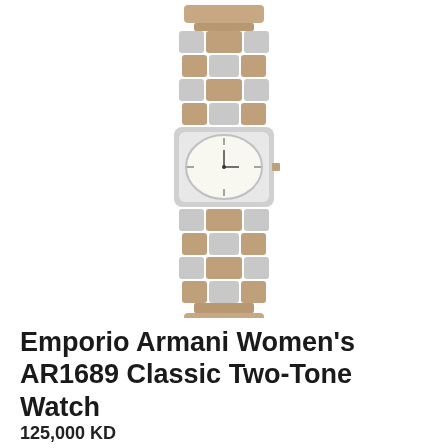[Figure (photo): Main product image showing close-up of Emporio Armani AR1689 two-tone watch bracelet from above, silver and rose gold links visible]
[Figure (photo): Thumbnail 1 (selected/active): Full watch with two-tone silver and rose gold bracelet, white dial]
[Figure (photo): Thumbnail 2: Watch worn on a woman's wrist, two-tone bracelet]
[Figure (photo): Thumbnail 3: Watch on dark background, showing white dial and two-tone bracelet]
Emporio Armani Women's AR1689 Classic Two-Tone Watch
125,000 KD